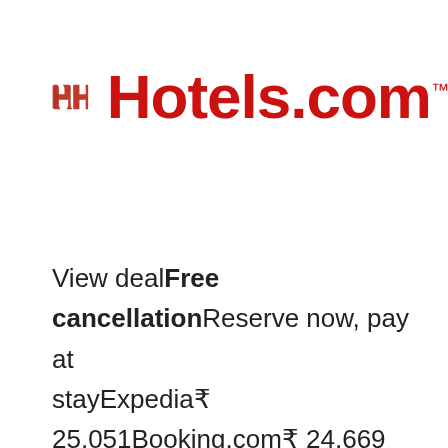[Figure (logo): Hotels.com logo with red stylized H icon and Hotels.com text in red with trademark symbol]
View dealFree cancellationReserve now, pay at stayExpedia₹ 25,051Booking.com₹ 24,669 Trip.com₹ 24,654View all 6 deals from ₹ 24,654284 reviews